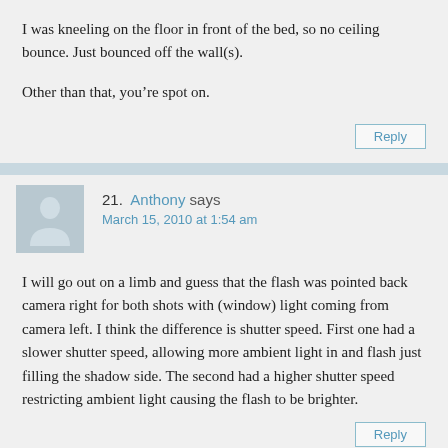I was kneeling on the floor in front of the bed, so no ceiling bounce. Just bounced off the wall(s).
Other than that, you're spot on.
21. Anthony says
March 15, 2010 at 1:54 am
I will go out on a limb and guess that the flash was pointed back camera right for both shots with (window) light coming from camera left. I think the difference is shutter speed. First one had a slower shutter speed, allowing more ambient light in and flash just filling the shadow side. The second had a higher shutter speed restricting ambient light causing the flash to be brighter.